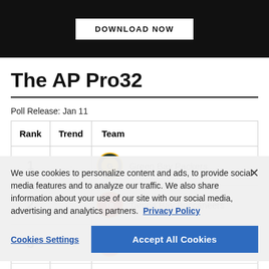[Figure (other): Dark banner with DOWNLOAD NOW button]
The AP Pro32
Poll Release: Jan 11
| Rank | Trend | Team |
| --- | --- | --- |
| 1 | - | Green Bay Packers |
| 2 |  | Tampa Bay Buccaneers |
| 3 | ↑ 1 | Kansas City Chiefs |
| 4 | ↑ 1 | Tennessee Titans |
We use cookies to personalize content and ads, to provide social media features and to analyze our traffic. We also share information about your use of our site with our social media, advertising and analytics partners. Privacy Policy
Cookies Settings
Accept All Cookies